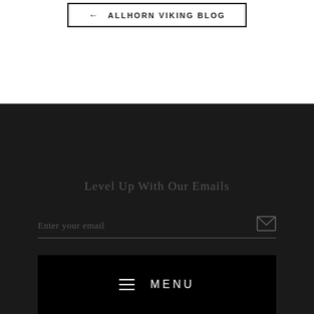← ALLHORN VIKING BLOG
Level Up With Our Emails
Enter your email
≡ MENU